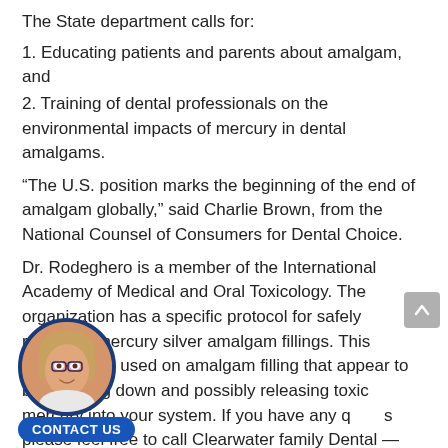The State department calls for:
1. Educating patients and parents about amalgam, and
2. Training of dental professionals on the environmental impacts of mercury in dental amalgams.
“The U.S. position marks the beginning of the end of amalgam globally,” said Charlie Brown, from the National Counsel of Consumers for Dental Choice.
Dr. Rodeghero is a member of the International Academy of Medical and Oral Toxicology. The organization has a specific protocol for safely removing mercury silver amalgam fillings. This procedure is used on amalgam filling that appear to be breaking down and possibly releasing toxic mercury into your system. If you have any q…s please feel free to call Clearwater family Dental —3552 and schedule an introductory c…ion for a nominal fee.
[Figure (photo): Circular avatar photo of a woman with glasses and blonde hair, framed with a dark blue circular border.]
CONTACT US